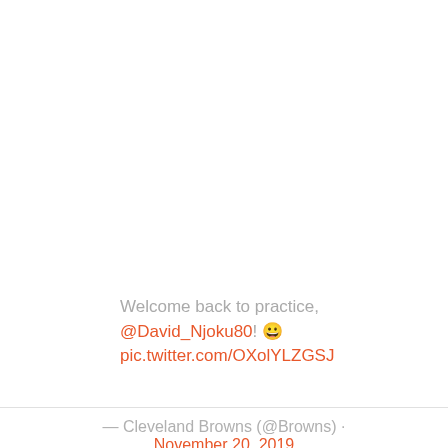Welcome back to practice, @David_Njoku80! 😀 pic.twitter.com/OXolYLZGSJ
— Cleveland Browns (@Browns) November 20, 2019